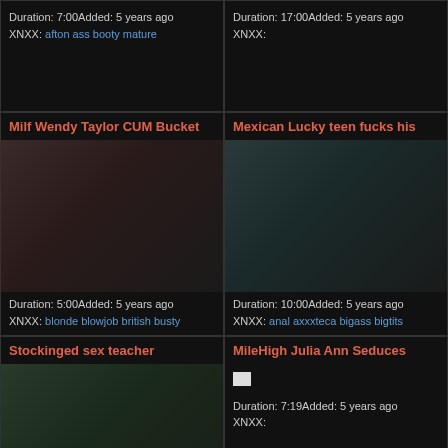Duration: 7:00Added: 5 years ago
XNXX: afton ass booty mature
Duration: 17:00Added: 5 years ago
XNXX:
Milf Wendy Taylor CUM Bucket
[Figure (photo): Video thumbnail showing adults in a living room scene]
Duration: 5:00Added: 5 years ago
XNXX: blonde blowjob british busty
Mexican Lucky teen fucks his
[Figure (photo): Video thumbnail showing adults in a kitchen/room scene]
Duration: 10:00Added: 5 years ago
XNXX: anal axxxteca bigass bigtits
Stockinged sex teacher
[Figure (photo): Video thumbnail showing adults in a classroom scene]
MileHigh Julia Ann Seduces
Duration: 7:19Added: 5 years ago
XNXX: